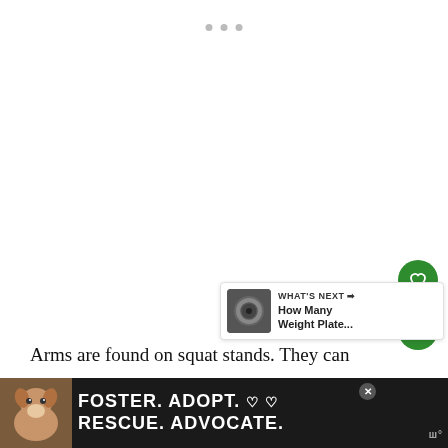[Figure (screenshot): Three small grey dots in a row near the top center of the page, suggesting a loading indicator or carousel dots]
[Figure (other): Green circular button with a heart icon (like/favorite)]
[Figure (other): Green circular button with a share icon]
[Figure (other): What's Next card with thumbnail image of a weight plate and text 'WHAT'S NEXT → How Many Weight Plate...']
Arms are found on squat stands. They can a...
[Figure (other): Advertisement banner: dark background with a dog photo on left and text 'FOSTER. ADOPT. ♡♡ RESCUE. ADVOCATE.' with a close button and logo on right]